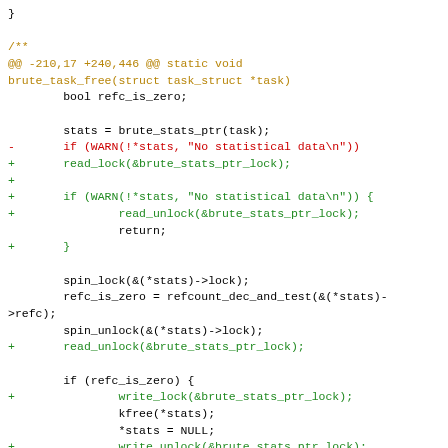Code diff showing changes to brute_task_free function including addition of read_lock/read_unlock around statistical data check and write_lock/write_unlock around kfree operations.